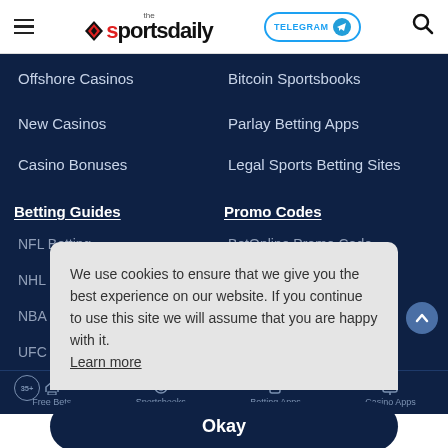the sportsdaily | TELEGRAM | Search
Offshore Casinos
Bitcoin Sportsbooks
New Casinos
Parlay Betting Apps
Casino Bonuses
Legal Sports Betting Sites
Betting Guides
Promo Codes
NFL Betting
BetOnline Promo Code
NHL Betting
NBA Betting
MyBookie Promo Code
UFC Betting
VBet Promo Code
We use cookies to ensure that we give you the best experience on our website. If you continue to use this site we will assume that you are happy with it.
Learn more
Okay
Free Bets | Sportsbooks | Betting Apps | Casino Apps